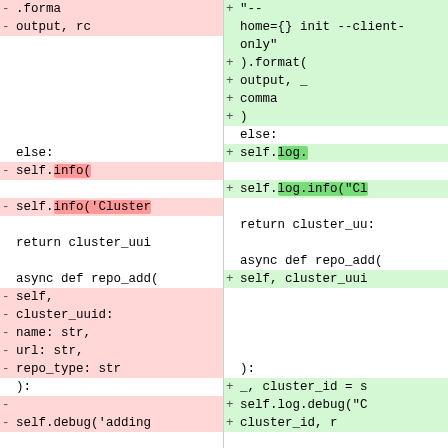[Figure (screenshot): Code diff showing two columns (left: removed lines in red, right: added lines in green). The diff shows changes to Python async methods including self.info() replaced with self.log.info(), and repo_add() method signature changes with cluster_uuid parameter consolidation.]